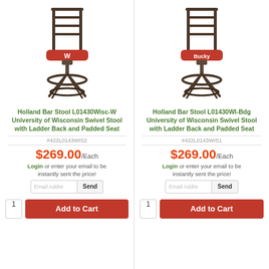[Figure (photo): Holland Bar Stool with red padded seat, ladder back, and black metal frame - left product]
Holland Bar Stool L01430Wisc-W University of Wisconsin Swivel Stool with Ladder Back and Padded Seat
#422L0143WIS2
$269.00/Each
Login or enter your email to be instantly sent the price!
[Figure (photo): Holland Bar Stool with red padded seat, ladder back, and black metal frame - right product]
Holland Bar Stool L01430WI-Bdg University of Wisconsin Swivel Stool with Ladder Back and Padded Seat
#422L0143WIS1
$269.00/Each
Login or enter your email to be instantly sent the price!